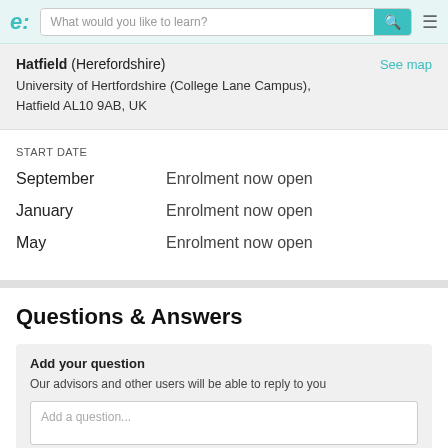[Figure (screenshot): Website navigation bar with logo 'e:', search box reading 'What would you like to learn?', search button, and hamburger menu icon]
Hatfield (Herefordshire) — See map
University of Hertfordshire (College Lane Campus), Hatfield AL10 9AB, UK
START DATE
September    Enrolment now open
January    Enrolment now open
May    Enrolment now open
Questions & Answers
Add your question
Our advisors and other users will be able to reply to you